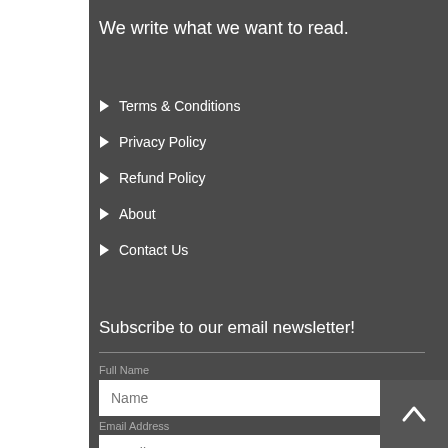We write what we want to read.
Terms & Conditions
Privacy Policy
Refund Policy
About
Contact Us
Subscribe to our email newsletter!
Full Name
Name
Email Address
Email